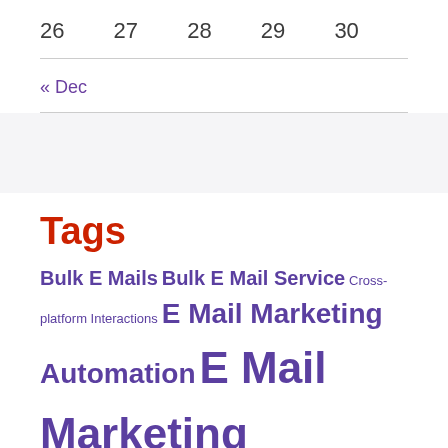26  27  28  29  30
« Dec
Tags
Bulk E Mails  Bulk E Mail Service  Cross-platform Interactions  E Mail Marketing Automation  E Mail Marketing Campaign  E Mail Marketing Platform  E